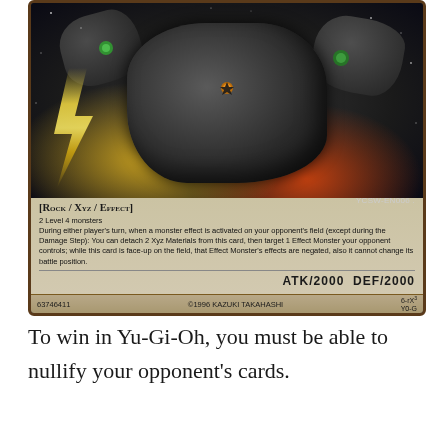[Figure (illustration): Yu-Gi-Oh trading card: Number 82: Heartlandraco or similar Rock/Xyz/Effect monster card (YCSW-EN006). Shows a dark rocky creature with glowing elements against a starry background. Card text reads: [Rock / Xyz / Effect] — 2 Level 4 monsters. During either player's turn, when a monster effect is activated on your opponent's field (except during the Damage Step): You can detach 2 Xyz Materials from this card, then target 1 Effect Monster your opponent controls; while this card is face-up on the field, that Effect Monster's effects are negated, also it cannot change its battle position. ATK/2000 DEF/2000. Card number 63746411. ©1996 KAZUKI TAKAHASHI. Card code: YCSW-EN006.]
To win in Yu-Gi-Oh, you must be able to nullify your opponent's cards.